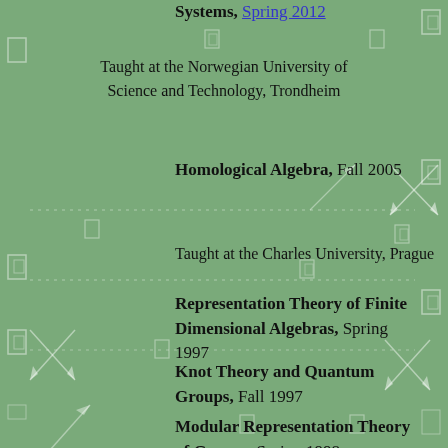Systems, Spring 2012
Taught at the Norwegian University of Science and Technology, Trondheim
Homological Algebra, Fall 2005
Taught at the Charles University, Prague
Representation Theory of Finite Dimensional Algebras, Spring 1997
Knot Theory and Quantum Groups, Fall 1997
Modular Representation Theory of Groups, Spring 1998